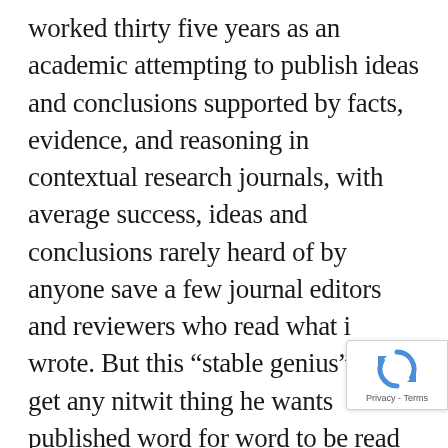worked thirty five years as an academic attempting to publish ideas and conclusions supported by facts, evidence, and reasoning in contextual research journals, with average success, ideas and conclusions rarely heard of by anyone save a few journal editors and reviewers who read what i wrote. But this “stable genius” can get any nitwit thing he wants published word for word to be read by millions just by blurting it out anywhere. Talk about absurdity and injustice. For whatever it’s worth unemployment is not at a 44 year low. At least twenty percent of all US citizens who would like to have a decent job are not in the work force. They are not working. Here it is one more time folks, for those of you on whom it
[Figure (other): reCAPTCHA badge with rotating arrows icon and Privacy - Terms text]